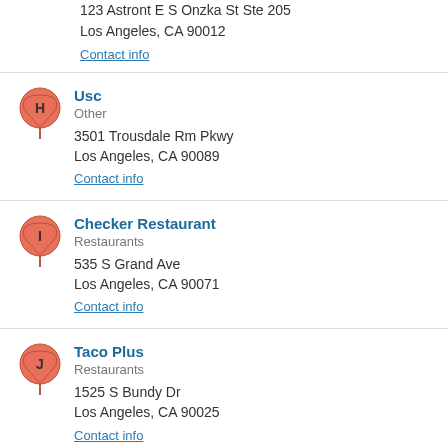123 Astront E S Onzka St Ste 205
Los Angeles, CA 90012
Contact info
Usc
Other
3501 Trousdale Rm Pkwy
Los Angeles, CA 90089
Contact info
Checker Restaurant
Restaurants
535 S Grand Ave
Los Angeles, CA 90071
Contact info
Taco Plus
Restaurants
1525 S Bundy Dr
Los Angeles, CA 90025
Contact info
<< prev 1 2 3 4 5 6 7